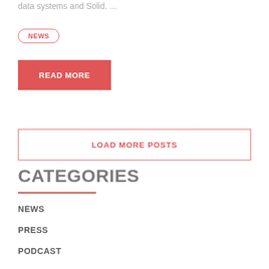data systems and Solid. ...
NEWS
READ MORE
LOAD MORE POSTS
CATEGORIES
NEWS
PRESS
PODCAST